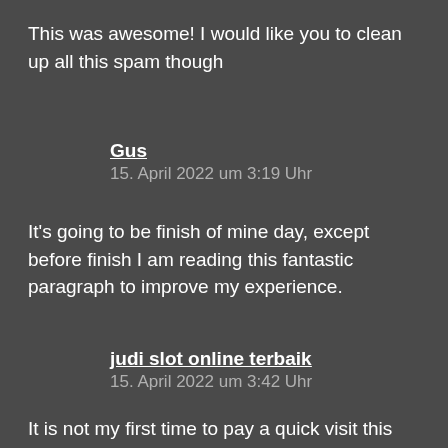This was awesome! I would like you to clean up all this spam though
Gus
15. April 2022 um 3:19 Uhr
It's going to be finish of mine day, except before finish I am reading this fantastic paragraph to improve my experience.
judi slot online terbaik
15. April 2022 um 3:42 Uhr
It is not my first time to pay a quick visit this